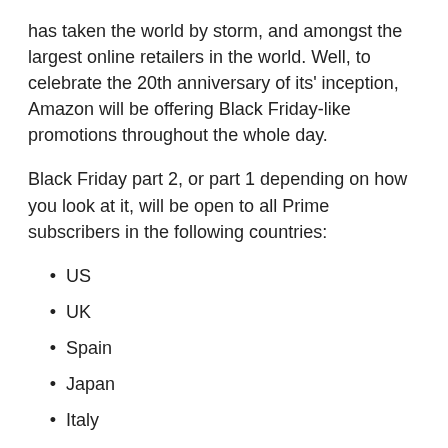has taken the world by storm, and amongst the largest online retailers in the world. Well, to celebrate the 20th anniversary of its' inception, Amazon will be offering Black Friday-like promotions throughout the whole day.
Black Friday part 2, or part 1 depending on how you look at it, will be open to all Prime subscribers in the following countries:
US
UK
Spain
Japan
Italy
German
France
Canada
Austria